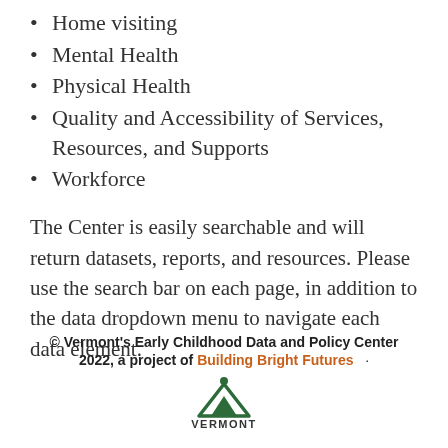Home visiting
Mental Health
Physical Health
Quality and Accessibility of Services, Resources, and Supports
Workforce
The Center is easily searchable and will return datasets, reports, and resources. Please use the search bar on each page, in addition to the data dropdown menu to navigate each data element.
© Vermont's Early Childhood Data and Policy Center 2022, a project of Building Bright Futures · VERMONT